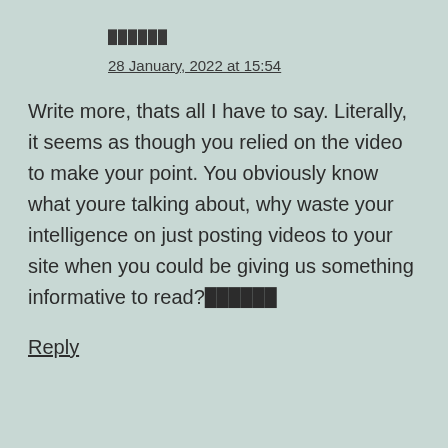██████
28 January, 2022 at 15:54
Write more, thats all I have to say. Literally, it seems as though you relied on the video to make your point. You obviously know what youre talking about, why waste your intelligence on just posting videos to your site when you could be giving us something informative to read?██████
Reply